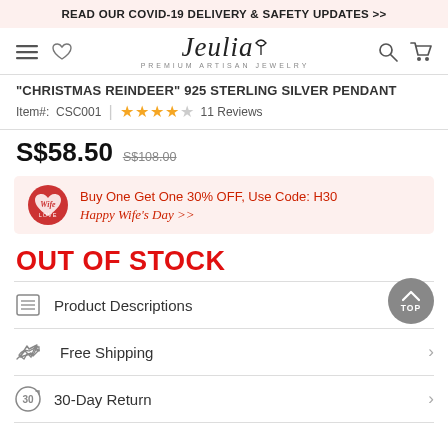READ OUR COVID-19 DELIVERY & SAFETY UPDATES >>
[Figure (logo): Jeulia Premium Artisan Jewelry logo with navigation icons]
"CHRISTMAS REINDEER" 925 STERLING SILVER PENDANT
Item#: CSC001 | ★★★★☆ 11 Reviews
S$58.50  S$108.00
Buy One Get One 30% OFF, Use Code: H30 Happy Wife's Day >>
OUT OF STOCK
Product Descriptions
Free Shipping
30-Day Return